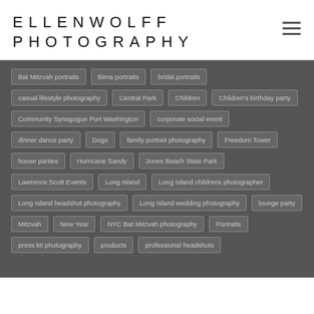ELLENWOLFF PHOTOGRAPHY
Bat Mitzvah portraits
Bima portraits
bridal portraits
casual lifestyle photography
Central Park
Children
Children's birthday party
Community Synagogue Port Washington
corporate social event
dinner dance party
Dogs
family portrait photography
Freedom Tower
house parties
Hurricane Sandy
Jones Beach State Park
Lawrence Scott Events
Long Island
Long Island childrens photographer
Long Island headshot photography
Long Island wedding photography
lounge party
Mitzvah
New Year
NYC Bat Mitzvah photography
Portraits
press kit photography
products
professional headshots